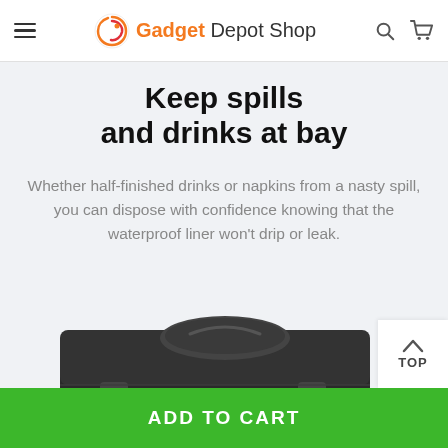Gadget Depot Shop
Keep spills and drinks at bay
Whether half-finished drinks or napkins from a nasty spill, you can dispose with confidence knowing that the waterproof liner won't drip or leak.
[Figure (photo): Black fabric storage/cooler bag with a circular lid/handle on top, front pockets with buckle closures, photographed from a slightly elevated angle.]
TOP
ADD TO CART